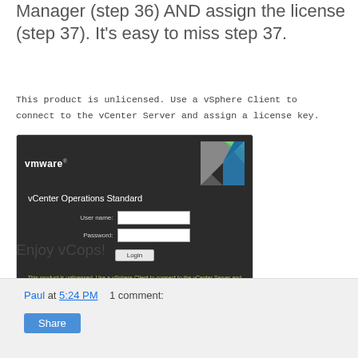Manager (step 36) AND assign the license (step 37). It's easy to miss step 37.
This product is unlicensed. Use a vSphere Client to connect to the vCenter Server and assign a license key.
[Figure (screenshot): VMware vCenter Operations Standard login screen showing fields for User name and Password, a Login button, and a yellow warning message: 'This product is unlicensed. Use a vSphere Client to connect to the vCenter Server and assign a license key.']
Enjoy vCops!
Paul at 5:24 PM    1 comment:
Share